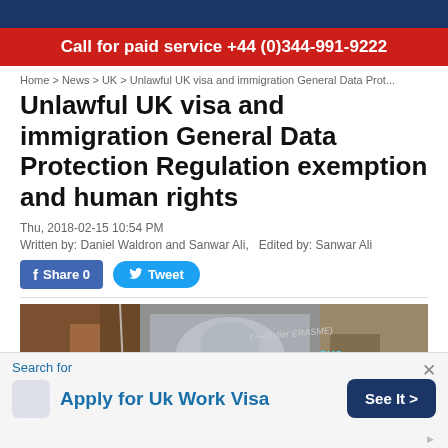Call for paid service +44 (0)344-991-9222
Home > News > UK > Unlawful UK visa and immigration General Data Prot...
Unlawful UK visa and immigration General Data Protection Regulation exemption and human rights
Thu, 2018-02-15 10:54 PM
Written by: Daniel Waldron and Sanwar Ali,   Edited by: Sanwar Ali
[Figure (photo): Graffiti street art photograph with text '(Didier ERASME)' and 'PMO' visible in blue, with layered paint and artwork on a wall]
Search for
Apply for Uk Work Visa
See It >